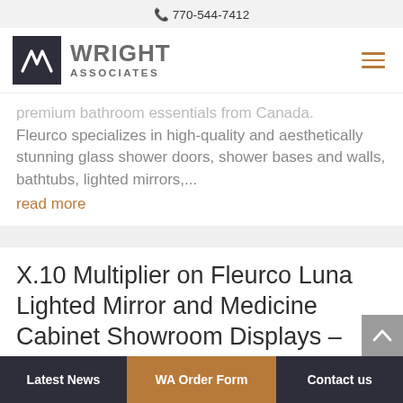770-544-7412
[Figure (logo): Wright Associates logo with dark square icon and text WRIGHT ASSOCIATES]
premium bathroom essentials from Canada. Fleurco specializes in high-quality and aesthetically stunning glass shower doors, shower bases and walls, bathtubs, lighted mirrors,...
read more
X.10 Multiplier on Fleurco Luna Lighted Mirror and Medicine Cabinet Showroom Displays – Ends Dec 31st, 2018
Latest News | WA Order Form | Contact us